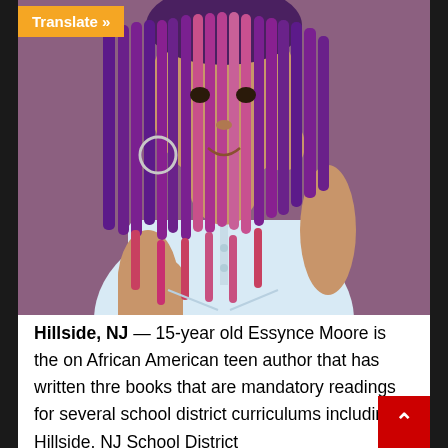[Figure (photo): A teenage girl with long purple and pink box braids wearing a white polo shirt, posed with her chin resting on her hand against a mauve/purple background.]
Hillside, NJ — 15-year old Essynce Moore is the on African American teen author that has written thre books that are mandatory readings for several school district curriculums including Hillside, NJ School District